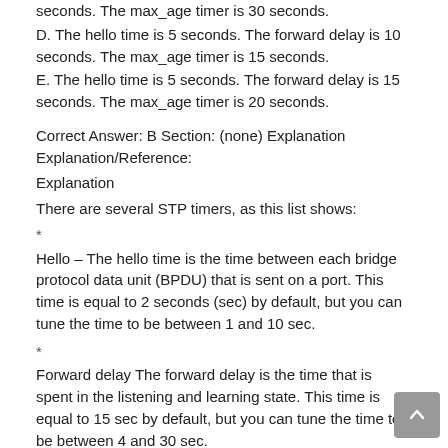seconds. The max_age timer is 30 seconds.
D. The hello time is 5 seconds. The forward delay is 10 seconds. The max_age timer is 15 seconds.
E. The hello time is 5 seconds. The forward delay is 15 seconds. The max_age timer is 20 seconds.
Correct Answer: B Section: (none) Explanation Explanation/Reference:
Explanation
There are several STP timers, as this list shows:
*
Hello – The hello time is the time between each bridge protocol data unit (BPDU) that is sent on a port. This time is equal to 2 seconds (sec) by default, but you can tune the time to be between 1 and 10 sec.
*
Forward delay The forward delay is the time that is spent in the listening and learning state. This time is equal to 15 sec by default, but you can tune the time to be between 4 and 30 sec.